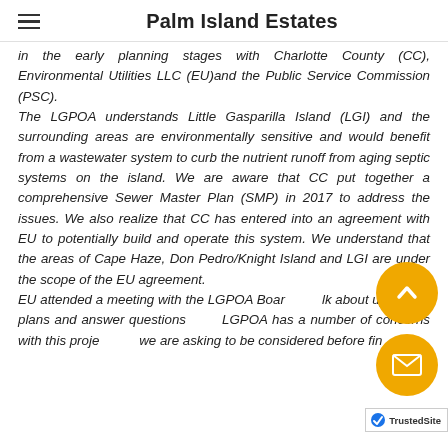Palm Island Estates
in the early planning stages with Charlotte County (CC), Environmental Utilities LLC (EU)and the Public Service Commission (PSC). The LGPOA understands Little Gasparilla Island (LGI) and the surrounding areas are environmentally sensitive and would benefit from a wastewater system to curb the nutrient runoff from aging septic systems on the island. We are aware that CC put together a comprehensive Sewer Master Plan (SMP) in 2017 to address the issues. We also realize that CC has entered into an agreement with EU to potentially build and operate this system. We understand that the areas of Cape Haze, Don Pedro/Knight Island and LGI are under the scope of the EU agreement. EU attended a meeting with the LGPOA Board to talk about upcoming plans and answer questions. The LGPOA has a number of concerns with this project and we are asking to be considered before fin...